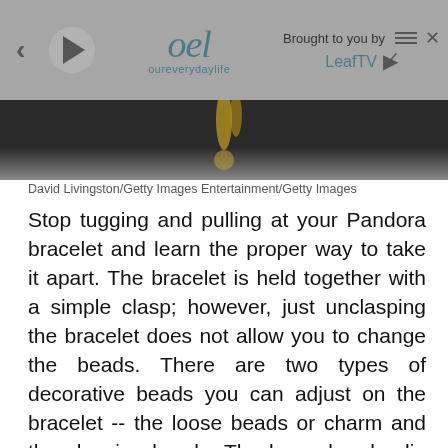[Figure (screenshot): Video player UI bar with navigation controls, OEL (oureverydaylife) logo, and 'Brought to you by LeafTV' branding on a gray background, above a dark video still showing gold jewelry/charm.]
David Livingston/Getty Images Entertainment/Getty Images
Stop tugging and pulling at your Pandora bracelet and learn the proper way to take it apart. The bracelet is held together with a simple clasp; however, just unclasping the bracelet does not allow you to change the beads. There are two types of decorative beads you can adjust on the bracelet -- the loose beads or charm and the clasping beads. The loose beads slip right off the bracelet when open, but the clasps are a bit harder to remove. Learn the right way to take off the clasps to take the bracelet apart completely.